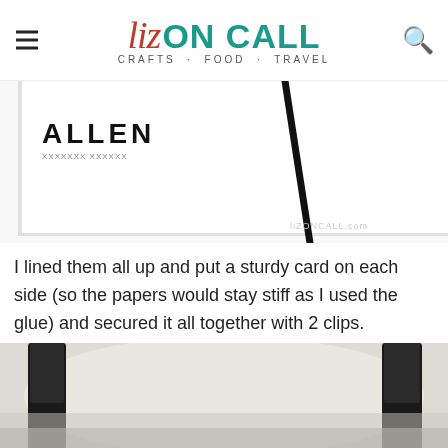Liz ON CALL · CRAFTS · FOOD · TRAVEL
[Figure (photo): Close-up of white paper/cards with bold text 'ALLEN' printed on the left, and a thin black diagonal line (pen or stylus) running across the white surface]
I lined them all up and put a sturdy card on each side (so the papers would stay stiff as I used the glue) and secured it all together with 2 clips.
[Figure (photo): Close-up photo showing two dark black clips holding papers/cards together against a light background, slightly blurred/bokeh effect at bottom]